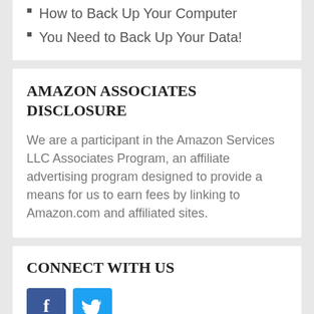How to Back Up Your Computer
You Need to Back Up Your Data!
AMAZON ASSOCIATES DISCLOSURE
We are a participant in the Amazon Services LLC Associates Program, an affiliate advertising program designed to provide a means for us to earn fees by linking to Amazon.com and affiliated sites.
CONNECT WITH US